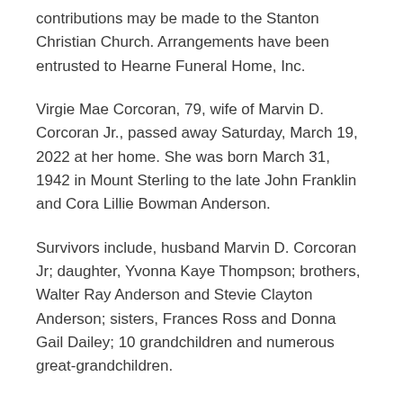contributions may be made to the Stanton Christian Church. Arrangements have been entrusted to Hearne Funeral Home, Inc.
Virgie Mae Corcoran, 79, wife of Marvin D. Corcoran Jr., passed away Saturday, March 19, 2022 at her home. She was born March 31, 1942 in Mount Sterling to the late John Franklin and Cora Lillie Bowman Anderson.
Survivors include, husband Marvin D. Corcoran Jr; daughter, Yvonna Kaye Thompson; brothers, Walter Ray Anderson and Stevie Clayton Anderson; sisters, Frances Ross and Donna Gail Dailey; 10 grandchildren and numerous great-grandchildren.
She was preceded in death by her parents and...